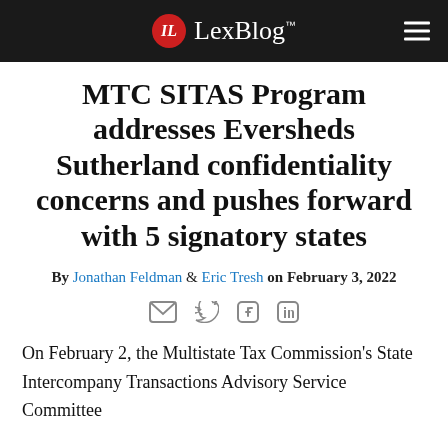LexBlog™
MTC SITAS Program addresses Eversheds Sutherland confidentiality concerns and pushes forward with 5 signatory states
By Jonathan Feldman & Eric Tresh on February 3, 2022
[Figure (other): Social share icons: email, Twitter, Facebook, LinkedIn]
On February 2, the Multistate Tax Commission's State Intercompany Transactions Advisory Service Committee